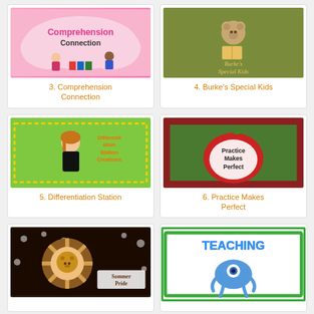[Figure (illustration): Comprehension Connection blog logo - pink background with cartoon children and books]
3. Comprehension Connection
[Figure (illustration): Burke's Special Kids blog logo - olive green background with cartoon teddy bear reading]
4. Burke's Special Kids
[Figure (illustration): Differentiation Station Creations blog logo - bright green background with cartoon woman in black]
5. Differentiation Station
[Figure (illustration): Practice Makes Perfect blog logo - red apple on green checkered background]
6. Practice Makes Perfect
[Figure (illustration): Sommer Pride blog logo - decorative brown gear/frame on black and white pattern]
[Figure (illustration): Teaching Monster blog logo - green border with blue monster graphic and TEACHING MONSTER text]